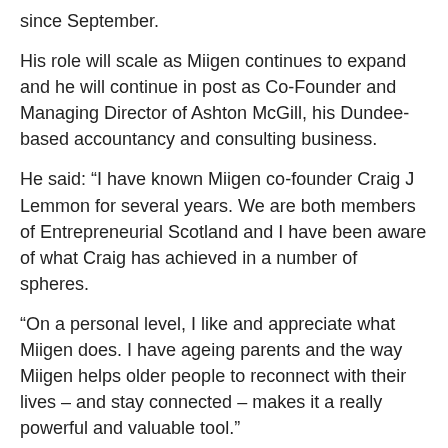since September.
His role will scale as Miigen continues to expand and he will continue in post as Co-Founder and Managing Director of Ashton McGill, his Dundee-based accountancy and consulting business.
He said: “I have known Miigen co-founder Craig J Lemmon for several years. We are both members of Entrepreneurial Scotland and I have been aware of what Craig has achieved in a number of spheres.
“On a personal level, I like and appreciate what Miigen does. I have ageing parents and the way Miigen helps older people to reconnect with their lives – and stay connected – makes it a really powerful and valuable tool.”
Craig J Lemmon said: “We are absolutely delighted to have been able to attract someone of Alasdair’s calibre to join the team and help us on the next stage of the Miigen journey.